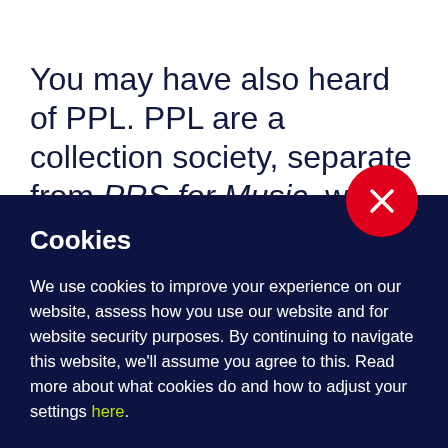You may have also heard of PPL. PPL are a collection society, separate from PRS for Music, who look after performers and master
[Figure (other): Red circular close button with white X, overlapping the boundary between white and dark navy sections]
Cookies
We use cookies to improve your experience on our website, assess how you use our website and for website security purposes. By continuing to navigate this website, we'll assume you agree to this. Read more about what cookies do and how to adjust your settings here.